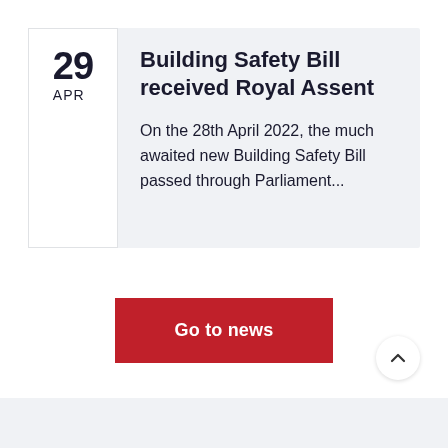Building Safety Bill received Royal Assent
On the 28th April 2022, the much awaited new Building Safety Bill passed through Parliament...
Go to news